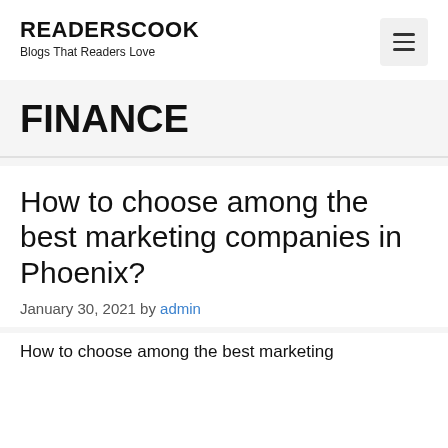READERSCOOK
Blogs That Readers Love
FINANCE
How to choose among the best marketing companies in Phoenix?
January 30, 2021 by admin
How to choose among the best marketing